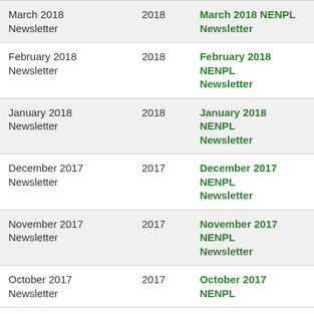| March 2018 Newsletter | 2018 | March 2018 NENPL Newsletter |
| February 2018 Newsletter | 2018 | February 2018 NENPL Newsletter |
| January 2018 Newsletter | 2018 | January 2018 NENPL Newsletter |
| December 2017 Newsletter | 2017 | December 2017 NENPL Newsletter |
| November 2017 Newsletter | 2017 | November 2017 NENPL Newsletter |
| October 2017 Newsletter | 2017 | October 2017 NENPL |